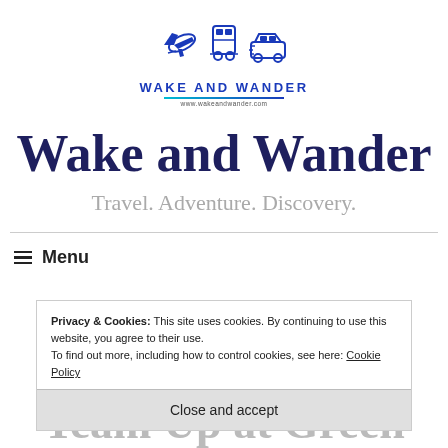[Figure (logo): Wake and Wander logo with airplane, train, and car icons above the text 'WAKE AND WANDER' and URL www.wakeandwander.com]
Wake and Wander
Travel. Adventure. Discovery.
≡  Menu
Privacy & Cookies: This site uses cookies. By continuing to use this website, you agree to their use.
To find out more, including how to control cookies, see here: Cookie Policy
Close and accept
Team Up at Green